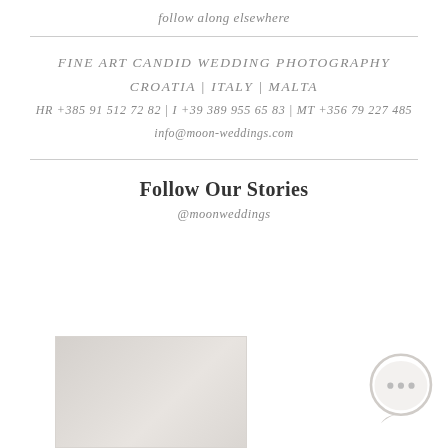follow along elsewhere
FINE ART CANDID WEDDING PHOTOGRAPHY
CROATIA | ITALY | MALTA
HR +385 91 512 72 82 | I +39 389 955 65 83 | MT +356 79 227 485
info@moon-weddings.com
Follow Our Stories
@moonweddings
[Figure (photo): A faded/light photograph visible at the bottom left]
[Figure (illustration): A circular chat bubble icon at the bottom right with ellipsis (...)]